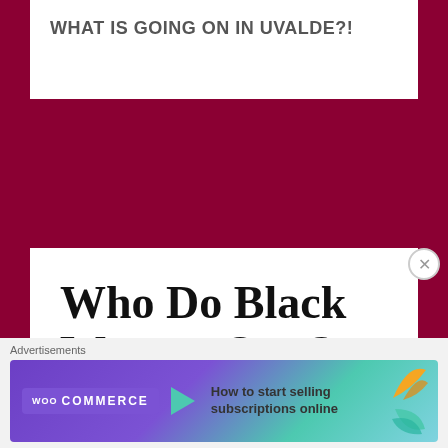WHAT IS GOING ON IN UVALDE?!
Who Do Black Women Owe?
Image · May 30, 2022 · Leave a comment ·
[Figure (screenshot): WooCommerce advertisement banner: 'How to start selling subscriptions online']